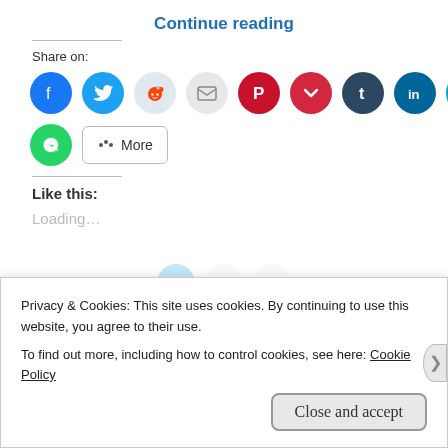Continue reading
Share on:
[Figure (infographic): Row of social media share icon buttons: Facebook, Twitter, Reddit, Email, Pinterest, Pocket, Tumblr, LinkedIn, Skype, Telegram; then WhatsApp and a More button]
Like this:
Loading...
Privacy & Cookies: This site uses cookies. By continuing to use this website, you agree to their use.
To find out more, including how to control cookies, see here: Cookie Policy
Close and accept